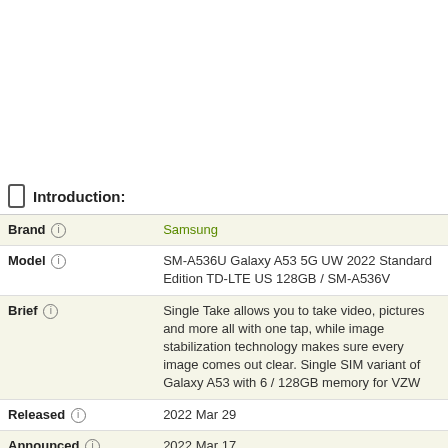Introduction:
| Field | Value |
| --- | --- |
| Brand | Samsung |
| Model | SM-A536U Galaxy A53 5G UW 2022 Standard Edition TD-LTE US 128GB / SM-A536V |
| Brief | Single Take allows you to take video, pictures and more all with one tap, while image stabilization technology makes sure every image comes out clear. Single SIM variant of Galaxy A53 with 6 / 128GB memory for VZW |
| Released | 2022 Mar 29 |
| Announced | 2022 Mar 17 |
| Hardware Designer | Samsung Electronics |
| Manufacturer | Samsung Electronics |